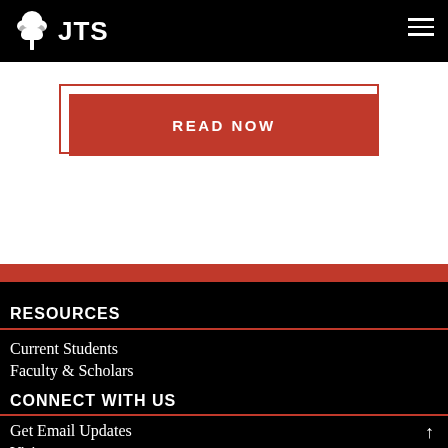JTS
READ NOW
RESOURCES
Current Students
Faculty & Scholars
CONNECT WITH US
Get Email Updates
Visit